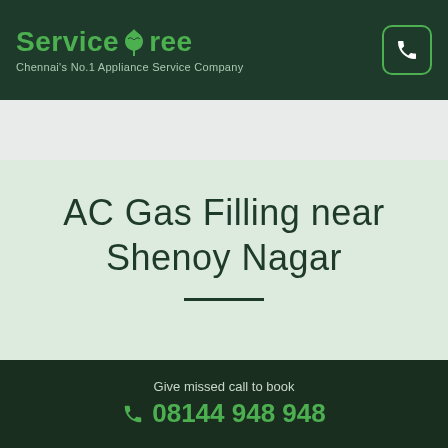ServiceTree — Chennai's No.1 Appliance Service Company
AC Gas Filling near Shenoy Nagar
Bluestar AC Gas Filling in Adyar
Bluestar AC Gas Filling in Agaram
Give missed call to book 08144 948 948